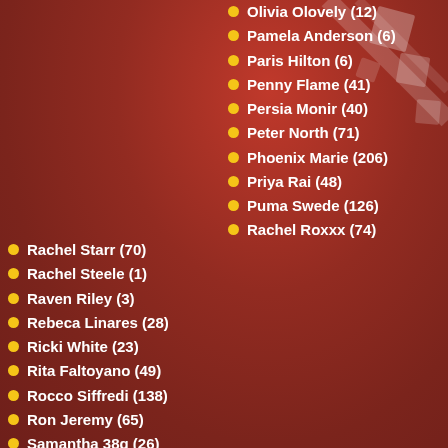Olivia Olovely (12)
Pamela Anderson (6)
Paris Hilton (6)
Penny Flame (41)
Persia Monir (40)
Peter North (71)
Phoenix Marie (206)
Priya Rai (48)
Puma Swede (126)
Rachel Roxxx (74)
Rachel Starr (70)
Rachel Steele (1)
Raven Riley (3)
Rebeca Linares (28)
Ricki White (23)
Rita Faltoyano (49)
Rocco Siffredi (138)
Ron Jeremy (65)
Samantha 38g (26)
Sandra Romain (67)
Sara Jay (220)
Sara Stone (42)